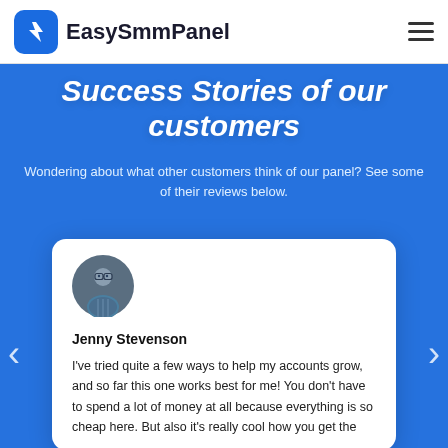EasySmmPanel
Success Stories of our customers
Wondering about what other customers think of our panel? See some of their reviews below.
[Figure (photo): Circular avatar photo of a man wearing glasses and a striped shirt]
Jenny Stevenson

I've tried quite a few ways to help my accounts grow, and so far this one works best for me! You don't have to spend a lot of money at all because everything is so cheap here. But also it's really cool how you get the